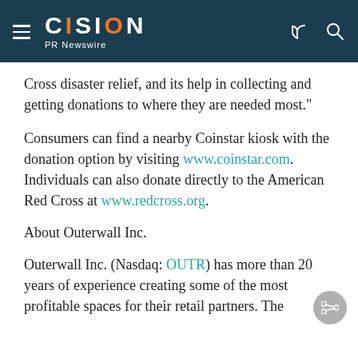CISION PR Newswire
Cross disaster relief, and its help in collecting and getting donations to where they are needed most."
Consumers can find a nearby Coinstar kiosk with the donation option by visiting www.coinstar.com. Individuals can also donate directly to the American Red Cross at www.redcross.org.
About Outerwall Inc.
Outerwall Inc. (Nasdaq: OUTR) has more than 20 years of experience creating some of the most profitable spaces for their retail partners. The